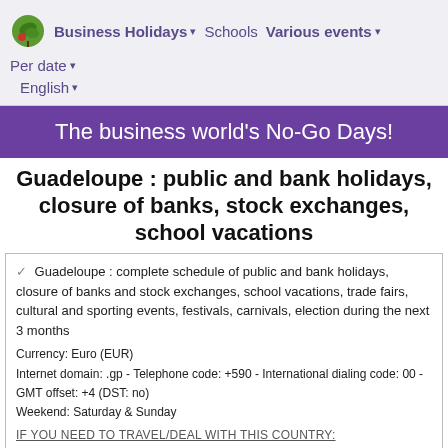Business Holidays ▾  Schools  Various events ▾
Per date ▾
English ▾
The business world's No-Go Days!
Guadeloupe : public and bank holidays, closure of banks, stock exchanges, school vacations
Guadeloupe : complete schedule of public and bank holidays, closure of banks and stock exchanges, school vacations, trade fairs, cultural and sporting events, festivals, carnivals, election during the next 3 months
Currency: Euro (EUR)
Internet domain: .gp - Telephone code: +590 - International dialing code: 00 - GMT offset: +4 (DST: no)
Weekend: Saturday & Sunday